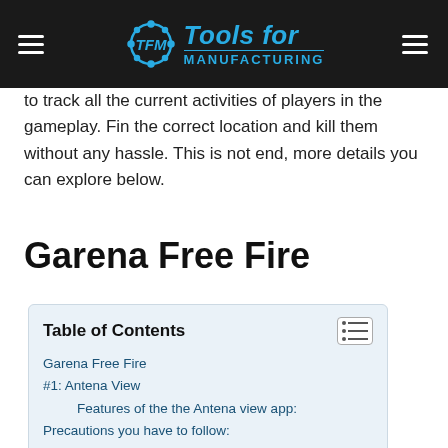Tools for Manufacturing
to track all the current activities of players in the gameplay. Fin the correct location and kill them without any hassle. This is not end, more details you can explore below.
Garena Free Fire
| Table of Contents |
| --- |
| Garena Free Fire |
| #1: Antena View |
| Features of the the Antena view app: |
| Precautions you have to follow: |
| How to use the Antena View |
| #2: Free Fire Max |
| #3: Godsteam |
| Features of the GodSteam Free Fire app |
| How to Use GodSteam Free Fire Mod Menu |